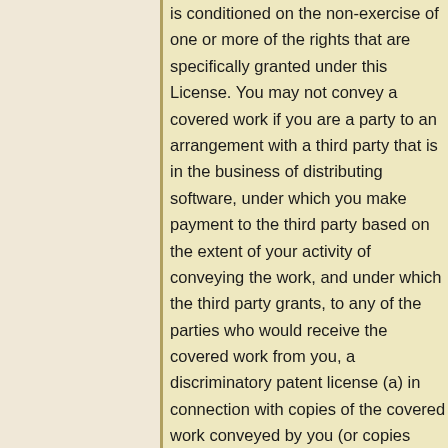is conditioned on the non-exercise of one or more of the rights that are specifically granted under this License. You may not convey a covered work if you are a party to an arrangement with a third party that is in the business of distributing software, under which you make payment to the third party based on the extent of your activity of conveying the work, and under which the third party grants, to any of the parties who would receive the covered work from you, a discriminatory patent license (a) in connection with copies of the covered work conveyed by you (or copies made from those copies), or (b) primarily for and in connection with